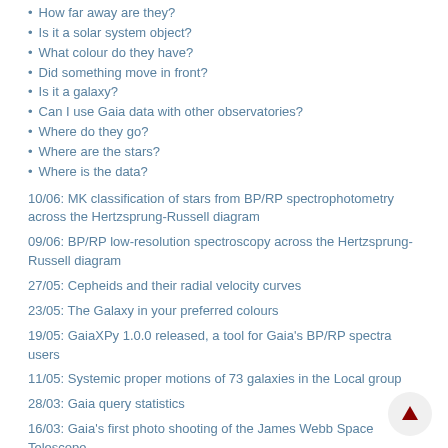How far away are they?
Is it a solar system object?
What colour do they have?
Did something move in front?
Is it a galaxy?
Can I use Gaia data with other observatories?
Where do they go?
Where are the stars?
Where is the data?
10/06: MK classification of stars from BP/RP spectrophotometry across the Hertzsprung-Russell diagram
09/06: BP/RP low-resolution spectroscopy across the Hertzsprung-Russell diagram
27/05: Cepheids and their radial velocity curves
23/05: The Galaxy in your preferred colours
19/05: GaiaXPy 1.0.0 released, a tool for Gaia's BP/RP spectra users
11/05: Systemic proper motions of 73 galaxies in the Local group
28/03: Gaia query statistics
16/03: Gaia's first photo shooting of the James Webb Space Telescope
08/03: Gaia's women in science - coordination unit 8
25/02: Not only distances: what Gaia DR3 RR Lyrae stars will tell us about our Galaxy and beyond